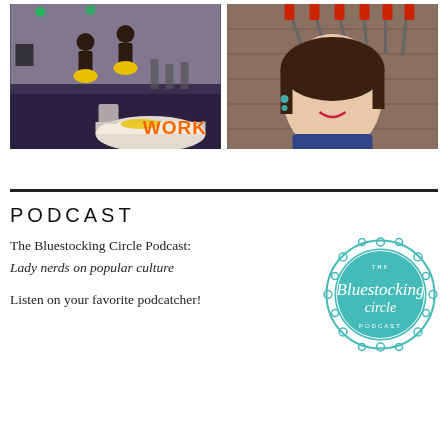[Figure (photo): Photo of hula dancers performing on stage with yellow costumes at an event/banquet, with text overlay 'WORK' in orange]
[Figure (photo): Selfie of a woman smiling in front of a wall of red-handled swords/katanas]
PODCAST
The Bluestocking Circle Podcast: Lady nerds on popular culture
Listen on your favorite podcatcher!
[Figure (logo): The Bluestocking Circle Podcast logo — circular teal/turquoise lace-style badge with script text 'The Bluestocking circle PODCAST']